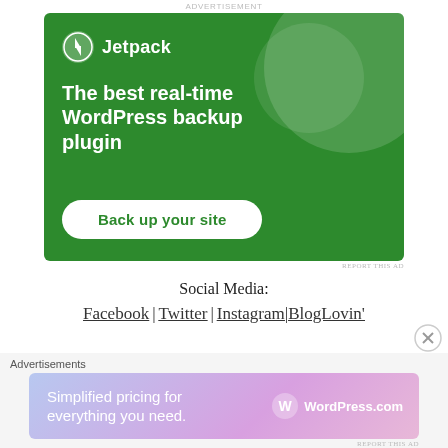[Figure (infographic): Jetpack WordPress plugin advertisement. Green background with circular decorative element. Shows Jetpack logo (lightning bolt icon) and tagline 'The best real-time WordPress backup plugin' with a 'Back up your site' call-to-action button.]
Social Media:
Facebook | Twitter | Instagram| BlogLovin'
[Figure (infographic): WordPress.com advertisement banner with gradient background (blue to purple to pink). Text: 'Simplified pricing for everything you need.' with WordPress.com logo on the right.]